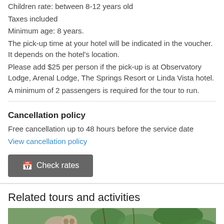Children rate: between 8-12 years old
Taxes included
Minimum age: 8 years.
The pick-up time at your hotel will be indicated in the voucher. It depends on the hotel's location.
Please add $25 per person if the pick-up is at Observatory Lodge, Arenal Lodge, The Springs Resort or Linda Vista hotel.
A minimum of 2 passengers is required for the tour to run.
Cancellation policy
Free cancellation up to 48 hours before the service date
View cancellation policy
[Figure (other): Check rates button with calendar icon]
Related tours and activities
[Figure (photo): Photo of a sloth on a branch with green leaves]